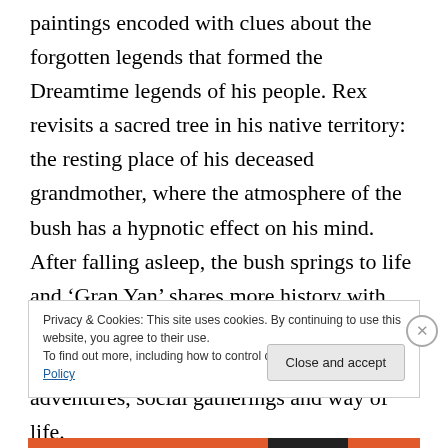paintings encoded with clues about the forgotten legends that formed the Dreamtime legends of his people. Rex revisits a sacred tree in his native territory: the resting place of his deceased grandmother, where the atmosphere of the bush has a hypnotic effect on his mind.  After falling asleep, the bush springs to life and 'Gran Yan' shares more history with the Australian bush about a bygone era of indigenous peoples: their journeys, adventures, social gatherings and way of life.
Privacy & Cookies: This site uses cookies. By continuing to use this website, you agree to their use.
To find out more, including how to control cookies, see here: Cookie Policy